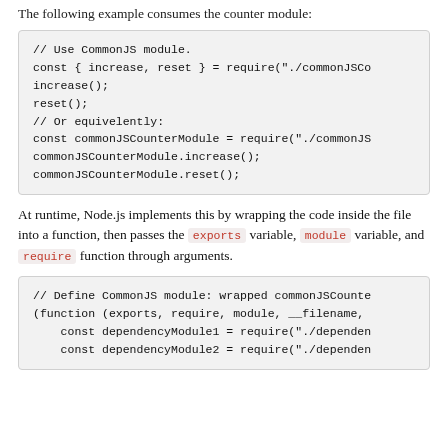The following example consumes the counter module:
// Use CommonJS module.
const { increase, reset } = require("./commonJSCo
increase();
reset();
// Or equivelently:
const commonJSCounterModule = require("./commonJS
commonJSCounterModule.increase();
commonJSCounterModule.reset();
At runtime, Node.js implements this by wrapping the code inside the file into a function, then passes the exports variable, module variable, and require function through arguments.
// Define CommonJS module: wrapped commonJSCounte
(function (exports, require, module, __filename,
    const dependencyModule1 = require("./dependen
    const dependencyModule2 = require("./dependen